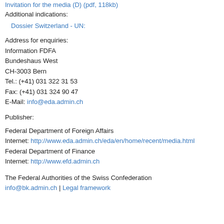Invitation for the media (D) (pdf, 118kb)
Additional indications:
Dossier Switzerland - UN:
Address for enquiries:
Information FDFA
Bundeshaus West
CH-3003 Bern
Tel.: (+41) 031 322 31 53
Fax: (+41) 031 324 90 47
E-Mail: info@eda.admin.ch
Publisher:
Federal Department of Foreign Affairs
Internet: http://www.eda.admin.ch/eda/en/home/recent/media.html
Federal Department of Finance
Internet: http://www.efd.admin.ch
The Federal Authorities of the Swiss Confederation
info@bk.admin.ch | Legal framework